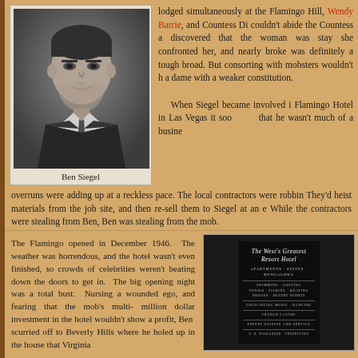[Figure (photo): Black and white portrait photo of Ben Siegel, a man in a suit and tie, looking at the camera]
Ben Siegel
lodged simultaneously at the Flamingo Hill, Wendy Barrie, and Countess Di couldn't abide the Countess a discovered that the woman was stay she confronted her, and nearly broke was definitely a tough broad. But consorting with mobsters wouldn't h a dame with a weaker constitution.
When Siegel became involved i Flamingo Hotel in Las Vegas it soo that he wasn't much of a busine overruns were adding up at a reckless pace. The local contractors were robbin They'd heist materials from the job site, and then re-sell them to Siegel at an e While the contractors were stealing from Ben, Ben was stealing from the mob.
The Flamingo opened in December 1946. The weather was horrendous, and the hotel wasn't even finished, so crowds of celebrities weren't beating down the doors to get in. The big opening night was a total bust. Nursing a wounded ego, and fearing that the mob's multi-million dollar investment in the hotel wouldn't show a profit, Ben scurried off to Beverly Hills where he holed up in the house that Virginia
[Figure (photo): Black and white photo of The Flamingo Hotel brochure/matchbook showing text: The West's Greatest Resort Hotel, Apartments, Suites, Bungalows, Swimming, Golfing, Tennis, Fishing, Boating, Horses, Desert Sports, Enchanting Music, Dancing, French Casino, Expert Cuisine and Service]